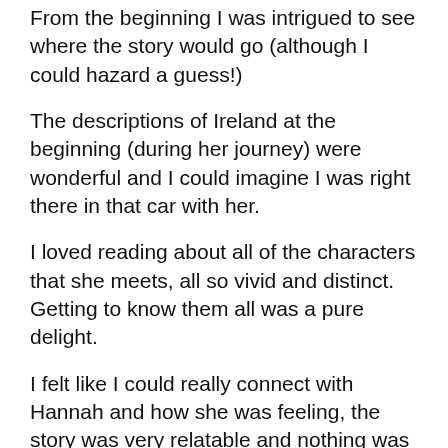From the beginning I was intrigued to see where the story would go (although I could hazard a guess!)
The descriptions of Ireland at the beginning (during her journey) were wonderful and I could imagine I was right there in that car with her.
I loved reading about all of the characters that she meets, all so vivid and distinct. Getting to know them all was a pure delight.
I felt like I could really connect with Hannah and how she was feeling, the story was very relatable and nothing was too far a stretch for my poor imagination skills.
This book has made me want to drop everything and go to a cookery school in Ireland and that's